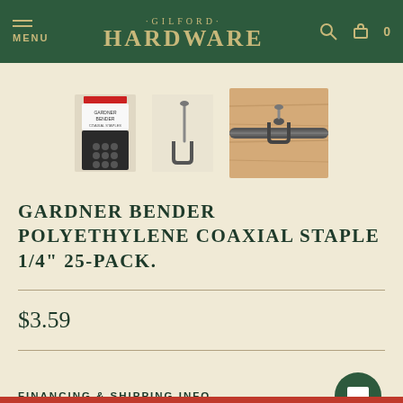MENU · GILFORD · HARDWARE  0
[Figure (photo): Three images of Gardner Bender polyethylene coaxial staples: a retail package on the left, a single staple in the center, and a close-up of a staple attached to wood/cable on the right.]
GARDNER BENDER POLYETHYLENE COAXIAL STAPLE 1/4" 25-PACK.
$3.59
FINANCING & SHIPPING INFO